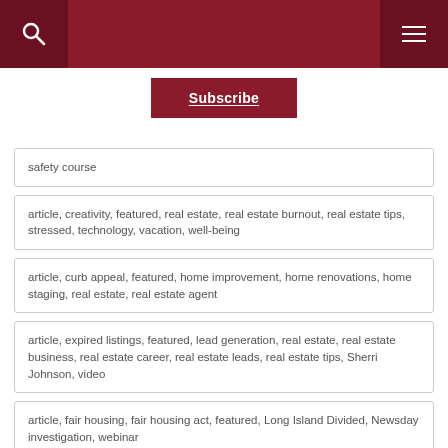Subscribe
safety course
article, creativity, featured, real estate, real estate burnout, real estate tips, stressed, technology, vacation, well-being
article, curb appeal, featured, home improvement, home renovations, home staging, real estate, real estate agent
article, expired listings, featured, lead generation, real estate, real estate business, real estate career, real estate leads, real estate tips, Sherri Johnson, video
article, fair housing, fair housing act, featured, Long Island Divided, Newsday investigation, webinar
article, featured, financing, home buyers, Luxury Real